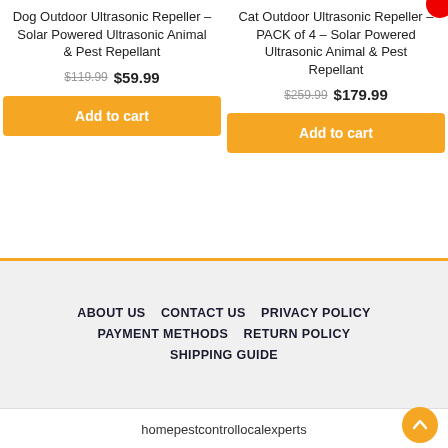Dog Outdoor Ultrasonic Repeller – Solar Powered Ultrasonic Animal & Pest Repellant
$119.99  $59.99
Add to cart
Cat Outdoor Ultrasonic Repeller – PACK of 4 – Solar Powered Ultrasonic Animal & Pest Repellant
$259.99  $179.99
Add to cart
ABOUT US   CONTACT US   PRIVACY POLICY   PAYMENT METHODS   RETURN POLICY   SHIPPING GUIDE
homepestcontrollocalexperts